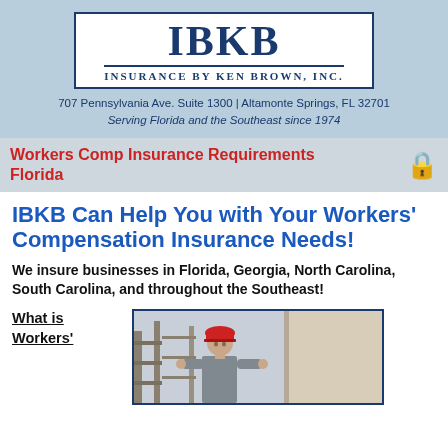[Figure (logo): IBKB Insurance by Ken Brown, Inc. logo — dark blue serif lettering in a bordered white box]
707 Pennsylvania Ave. Suite 1300 | Altamonte Springs, FL 32701
Serving Florida and the Southeast since 1974
Workers Comp Insurance Requirements Florida
IBKB Can Help You with Your Workers' Compensation Insurance Needs!
We insure businesses in Florida, Georgia, North Carolina, South Carolina, and throughout the Southeast!
What is Workers'
[Figure (photo): Construction worker wearing a red hard hat on a scaffolding site]